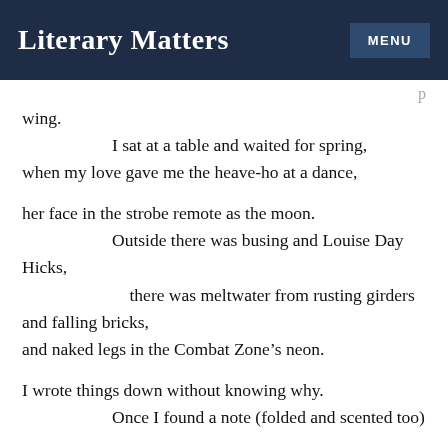Literary Matters  MENU
wing.
        I sat at a table and waited for spring,
when my love gave me the heave-ho at a dance,

her face in the strobe remote as the moon.
        Outside there was busing and Louise Day
Hicks,
             there was meltwater from rusting girders
and falling bricks,
and naked legs in the Combat Zone’s neon.

I wrote things down without knowing why.
        Once I found a note (folded and scented too)